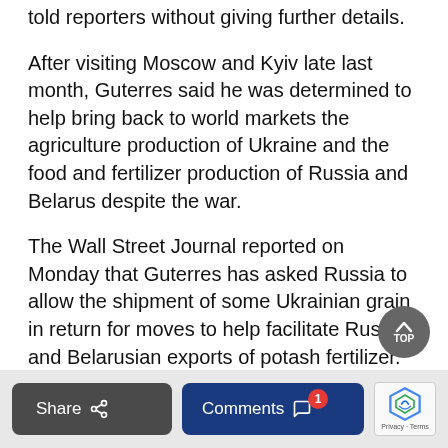told reporters without giving further details.
After visiting Moscow and Kyiv late last month, Guterres said he was determined to help bring back to world markets the agriculture production of Ukraine and the food and fertilizer production of Russia and Belarus despite the war.
The Wall Street Journal reported on Monday that Guterres has asked Russia to allow the shipment of some Ukrainian grain in return for moves to help facilitate Russian and Belarusian exports of potash fertilizer.
Guterres' spokesman, Stephane Dujarric, declined